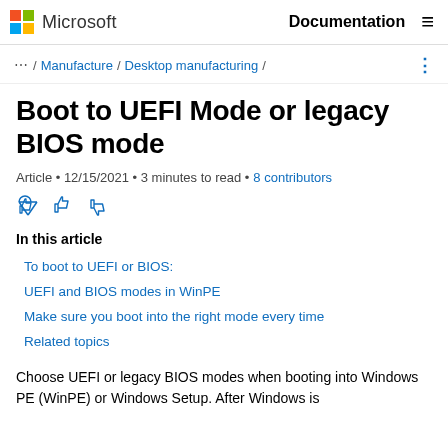Microsoft | Documentation
… / Manufacture / Desktop manufacturing /
Boot to UEFI Mode or legacy BIOS mode
Article • 12/15/2021 • 3 minutes to read • 8 contributors
In this article
To boot to UEFI or BIOS:
UEFI and BIOS modes in WinPE
Make sure you boot into the right mode every time
Related topics
Choose UEFI or legacy BIOS modes when booting into Windows PE (WinPE) or Windows Setup. After Windows is